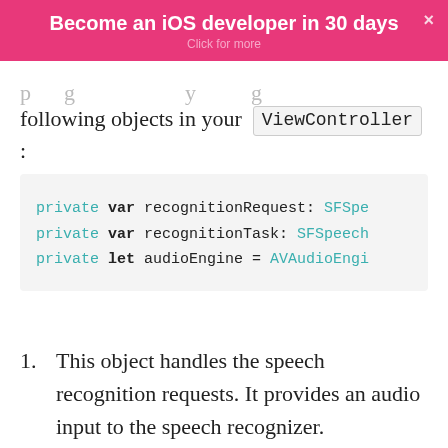Become an iOS developer in 30 days
Click for more
following objects in your ViewController :
[Figure (screenshot): Code block showing three Swift declarations: private var recognitionRequest: SFSpe, private var recognitionTask: SFSpeech, private let audioEngine = AVAudioEngi]
This object handles the speech recognition requests. It provides an audio input to the speech recognizer.
The recognition task where it gives you the